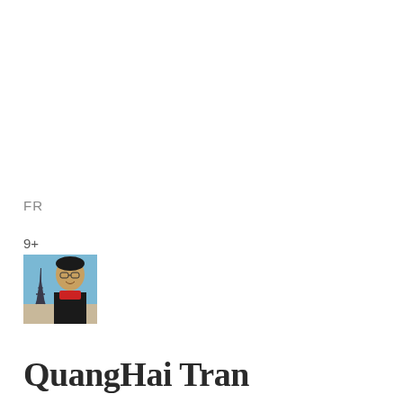FR
9+
[Figure (photo): Profile photo of QuangHai Tran in front of the Eiffel Tower in Paris, wearing a red scarf and black jacket]
QuangHai Tran